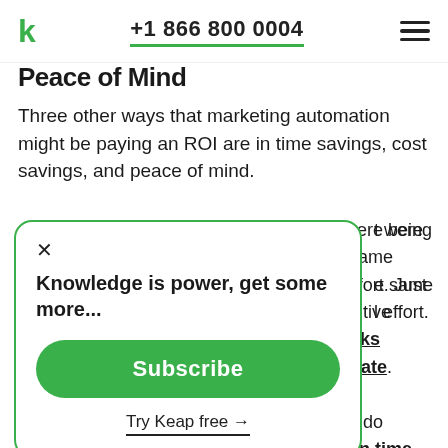+1 866 800 0004
Peace of Mind
Three other ways that marketing automation might be paying an ROI are in time savings, cost savings, and peace of mind.
Automation can handle things that were being done manually, taking the same amount of manual effort. Just think about repetitive tasks you can automate.
Knowledge is power, get some more...
Subscribe
Try Keap free →
... to do in your own time, allowing you to focus on other projects that you remember ...